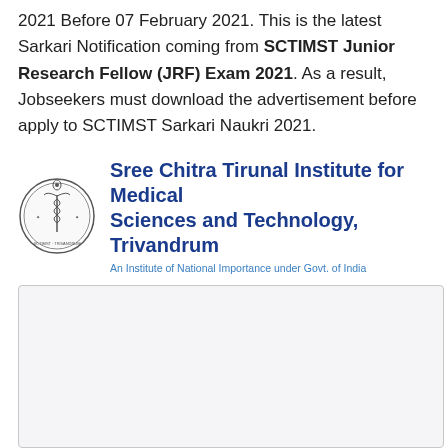2021 Before 07 February 2021. This is the latest Sarkari Notification coming from SCTIMST Junior Research Fellow (JRF) Exam 2021. As a result, Jobseekers must download the advertisement before apply to SCTIMST Sarkari Naukri 2021.
[Figure (logo): SCTIMST circular emblem/seal logo with text around the border and a medical symbol in the center]
Sree Chitra Tirunal Institute for Medical Sciences and Technology, Trivandrum
An Institute of National Importance under Govt. of India